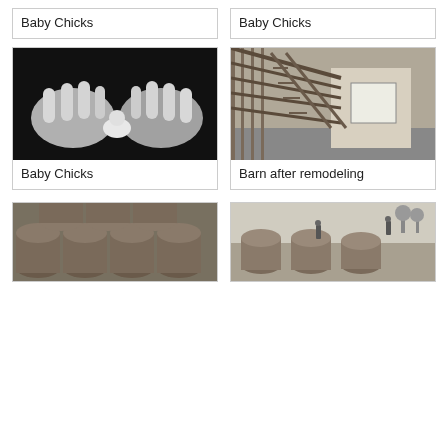Baby Chicks
Baby Chicks
[Figure (photo): Black and white photo of hands holding baby chicks]
Baby Chicks
[Figure (photo): Black and white photo of interior of barn after remodeling, showing wooden beams and a bright window]
Barn after remodeling
[Figure (photo): Black and white photo of stacked wooden barrels]
[Figure (photo): Black and white photo of barrels outdoors with people working in a field]